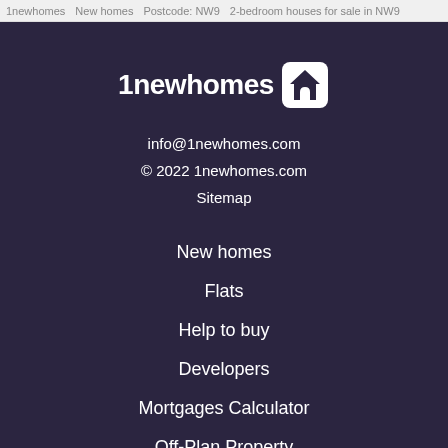1newhomes   New homes   Postcode: NW9   2-bedroom houses for sale in NW9
[Figure (logo): 1newhomes logo with white house/crown icon on dark purple background]
info@1newhomes.com
© 2022 1newhomes.com
Sitemap
New homes
Flats
Help to buy
Developers
Mortgages Calculator
Off-Plan Property
Property news